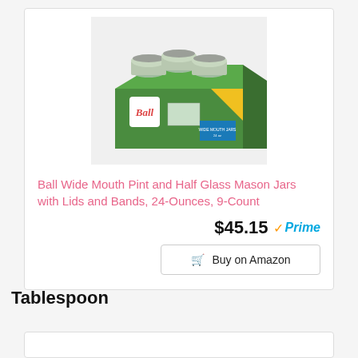[Figure (photo): Ball Wide Mouth Pint and Half Glass Mason Jars product package — green box with 9 glass jars with silver lids arranged on top, Ball logo visible on the front of the green box.]
Ball Wide Mouth Pint and Half Glass Mason Jars with Lids and Bands, 24-Ounces, 9-Count
$45.15 Prime
Buy on Amazon
Tablespoon